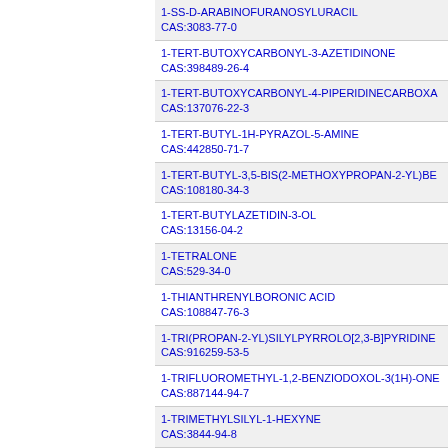1-SS-D-ARABINOFURANOSYLURACIL
CAS:3083-77-0
1-TERT-BUTOXYCARBONYL-3-AZETIDINONE
CAS:398489-26-4
1-TERT-BUTOXYCARBONYL-4-PIPERIDINECARBOXA
CAS:137076-22-3
1-TERT-BUTYL-1H-PYRAZOL-5-AMINE
CAS:442850-71-7
1-TERT-BUTYL-3,5-BIS(2-METHOXYPROPAN-2-YL)BE
CAS:108180-34-3
1-TERT-BUTYLAZETIDIN-3-OL
CAS:13156-04-2
1-TETRALONE
CAS:529-34-0
1-THIANTHRENYLBORONIC ACID
CAS:108847-76-3
1-TRI(PROPAN-2-YL)SILYLPYRROLO[2,3-B]PYRIDINE
CAS:916259-53-5
1-TRIFLUOROMETHYL-1,2-BENZIODOXOL-3(1H)-ONE
CAS:887144-94-7
1-TRIMETHYLSILYL-1-HEXYNE
CAS:3844-94-8
1-TRIPHENYLMETHYL-4-PIPERIDONE
CAS:112257-60-0
1-TRITYL-1H-IMIDAZOLE-4-CARBOXYLIC ACID
CAS:191103-80-7
1-TRITYLIMIDAZOLE-4-CARBOXALDEHYDE